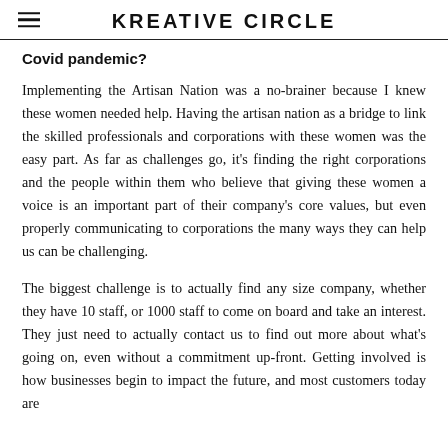KREATIVE CIRCLE
Covid pandemic?
Implementing the Artisan Nation was a no-brainer because I knew these women needed help. Having the artisan nation as a bridge to link the skilled professionals and corporations with these women was the easy part. As far as challenges go, it's finding the right corporations and the people within them who believe that giving these women a voice is an important part of their company's core values, but even properly communicating to corporations the many ways they can help us can be challenging.
The biggest challenge is to actually find any size company, whether they have 10 staff, or 1000 staff to come on board and take an interest. They just need to actually contact us to find out more about what's going on, even without a commitment up-front. Getting involved is how businesses begin to impact the future, and most customers today are